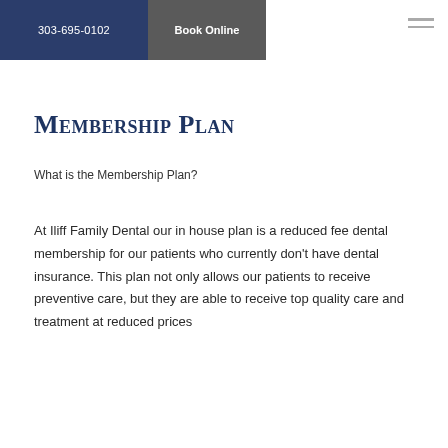303-695-0102   Book Online
Membership Plan
What is the Membership Plan?
At Iliff Family Dental our in house plan is a reduced fee dental membership for our patients who currently don't have dental insurance. This plan not only allows our patients to receive preventive care, but they are able to receive top quality care and treatment at reduced prices